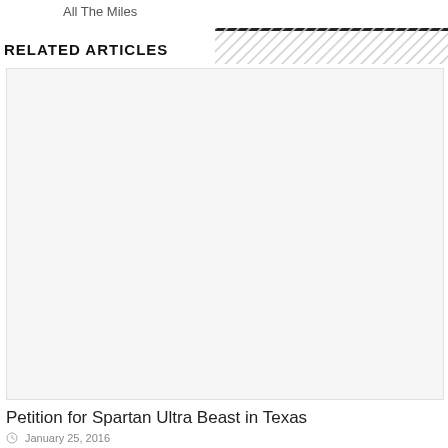All The Miles
RELATED ARTICLES
[Figure (photo): Large image placeholder for article about Petition for Spartan Ultra Beast in Texas]
Petition for Spartan Ultra Beast in Texas
January 25, 2016